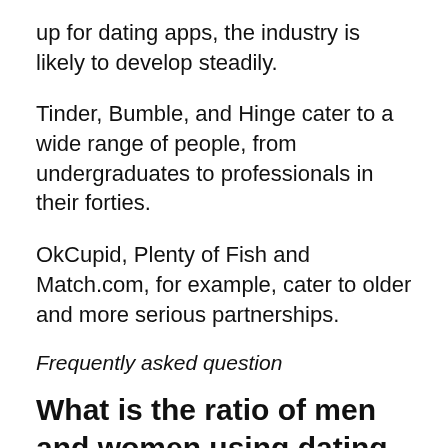up for dating apps, the industry is likely to develop steadily.
Tinder, Bumble, and Hinge cater to a wide range of people, from undergraduates to professionals in their forties.
OkCupid, Plenty of Fish and Match.com, for example, cater to older and more serious partnerships.
Frequently asked question
What is the ratio of men and women using dating apps?